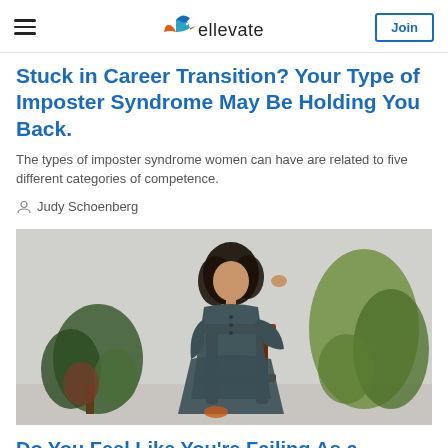ellevate
Stuck in Career Transition? Your Type of Imposter Syndrome May Be Holding You Back.
The types of imposter syndrome women can have are related to five different categories of competence.
Judy Schoenberg
[Figure (photo): A woman with curly dark hair wearing a dark grey/teal long dress, leaning on a chair surrounded by houseplants against a light grey background.]
Do You Feel Like You're Failing As a Business Owner?